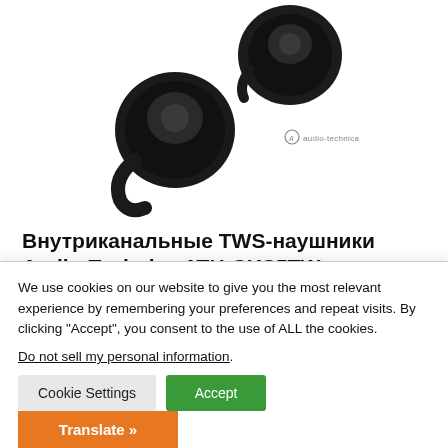[Figure (photo): Audio-Technica ATH-CKS5TW true wireless earbuds in black, two earpieces shown with Audio-Technica logo text]
Внутриканальные TWS-наушники Audio-Technica ATH-CKS5TW
14.02.2022
Внутриканальные True Wireless-наушники Audio-Technica ATH-CKS5TW оснащены эксклюзивными 10-мм излучателями с двухслойными...
We use cookies on our website to give you the most relevant experience by remembering your preferences and repeat visits. By clicking "Accept", you consent to the use of ALL the cookies.
Do not sell my personal information.
Cookie Settings
Accept
Translate »